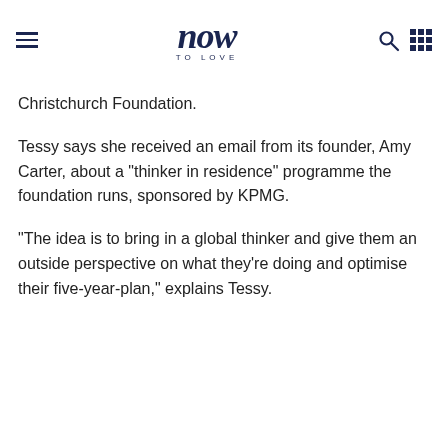now TO LOVE
Christchurch Foundation.
Tessy says she received an email from its founder, Amy Carter, about a "thinker in residence" programme the foundation runs, sponsored by KPMG.
"The idea is to bring in a global thinker and give them an outside perspective on what they're doing and optimise their five-year-plan," explains Tessy.